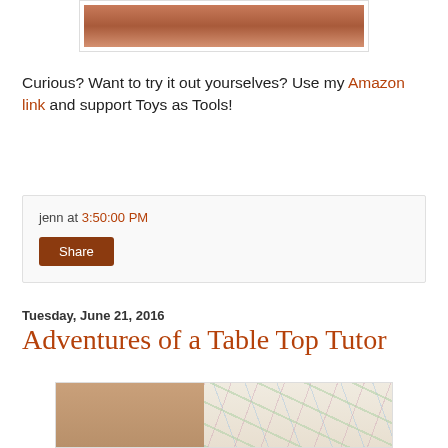[Figure (photo): Partial top of a photo showing a child's activity, cropped at the top of the page]
Curious? Want to try it out yourselves?  Use my Amazon link and support Toys as Tools!
jenn at 3:50:00 PM
Share
Tuesday, June 21, 2016
Adventures of a Table Top Tutor
[Figure (photo): Child looking at a large colorful illustrated map or drawing spread on a table]